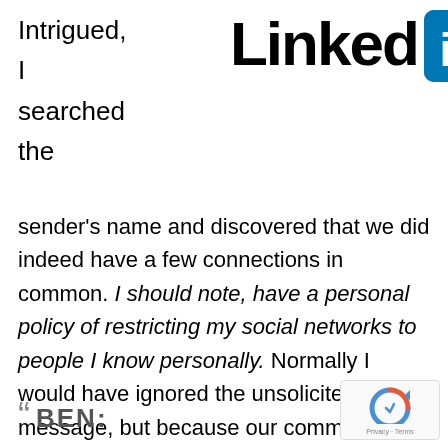Intrigued,
I
searched
the
[Figure (logo): LinkedIn logo with wordmark 'Linked' in black bold text and 'in' white text on blue rounded square icon]
sender's name and discovered that we did indeed have a few connections in common. I should note, have a personal policy of restricting my social networks to people I know personally. Normally I would have ignored the unsolicited message, but because our common connections are individuals I respect and count as some of my most trusted colleagues, I responded and tried to build rapport.
“  BEN:
[Figure (logo): Google reCAPTCHA widget with Privacy and Terms links]